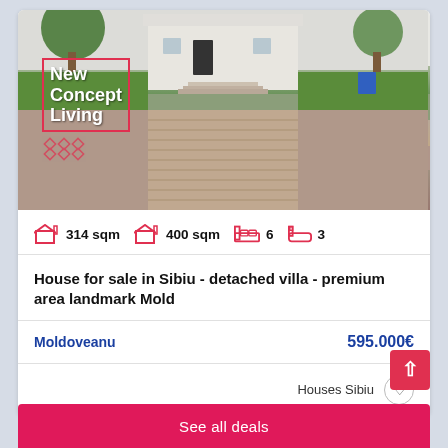[Figure (photo): Exterior photo of a detached villa with brick driveway, green lawn, and trees. New Concept Living logo with red border overlay in top-left.]
314 sqm  400 sqm  6  3
House for sale in Sibiu - detached villa - premium area landmark Mold
Moldoveanu  595.000€
Houses Sibiu
See all deals